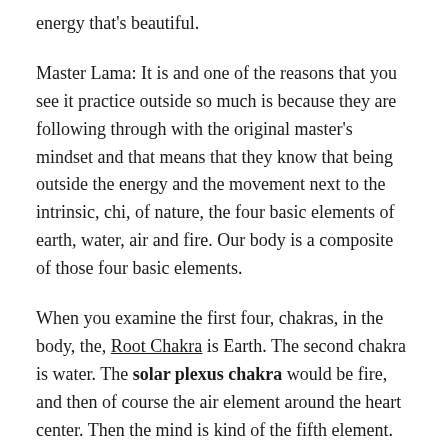energy that's beautiful.
Master Lama: It is and one of the reasons that you see it practice outside so much is because they are following through with the original master's mindset and that means that they know that being outside the energy and the movement next to the intrinsic, chi, of nature, the four basic elements of earth, water, air and fire. Our body is a composite of those four basic elements.
When you examine the first four, chakras, in the body, the, Root Chakra is Earth. The second chakra is water. The solar plexus chakra would be fire, and then of course the air element around the heart center. Then the mind is kind of the fifth element. The throat chakra is the creative and power center. And then of course, we have the sixth chakra is that the root of the nose. And the crown chakra is the forehead.